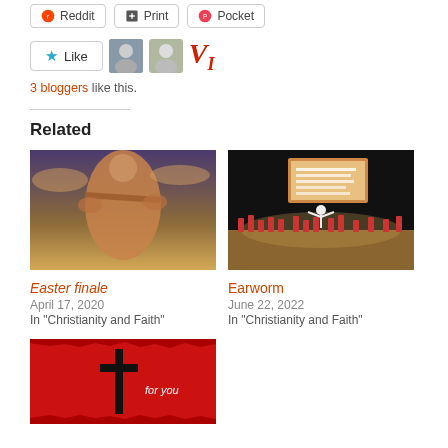[Figure (screenshot): Share buttons row: Reddit, Print, Pocket]
[Figure (screenshot): Like button with star, two avatar photos, and VI logo. '3 bloggers like this.']
3 bloggers like this.
Related
[Figure (photo): Painting of Jesus crucified on the cross]
Easter finale
April 17, 2020
In "Christianity and Faith"
[Figure (photo): Orchestra/choir on stage with screen behind showing text]
Earworm
June 22, 2022
In "Christianity and Faith"
[Figure (photo): Red background with cross and 'for you' text]